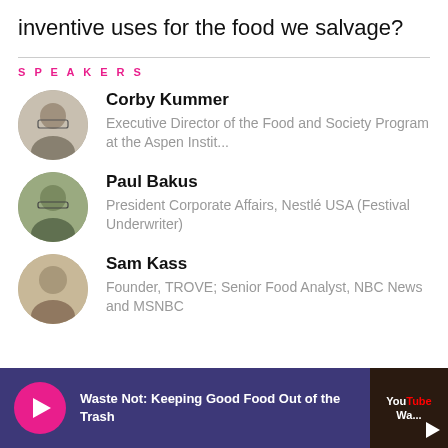inventive uses for the food we salvage?
SPEAKERS
Corby Kummer
Executive Director of the Food and Society Program at the Aspen Instit...
Paul Bakus
President Corporate Affairs, Nestlé USA (Festival Underwriter)
Sam Kass
Founder, TROVE; Senior Food Analyst, NBC News and MSNBC
Waste Not: Keeping Good Food Out of the Trash